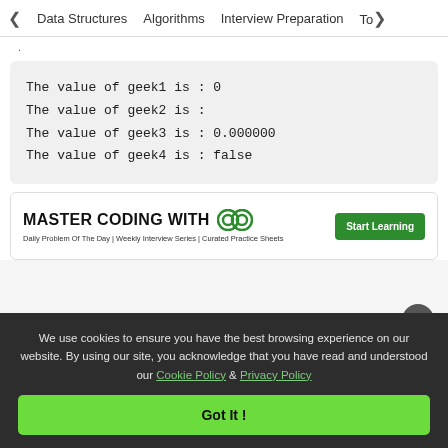< Data Structures   Algorithms   Interview Preparation   To>
.
The value of geek1 is : 0
The value of geek2 is :
The value of geek3 is : 0.000000
The value of geek4 is : false
[Figure (infographic): GeeksforGeeks ad banner: MASTER CODING WITH GG logo, Daily Problem Of The Day | Weekly Interview Series | Curated Practice Sheets, Start Learning button]
We use cookies to ensure you have the best browsing experience on our website. By using our site, you acknowledge that you have read and understood our Cookie Policy & Privacy Policy
Got It !